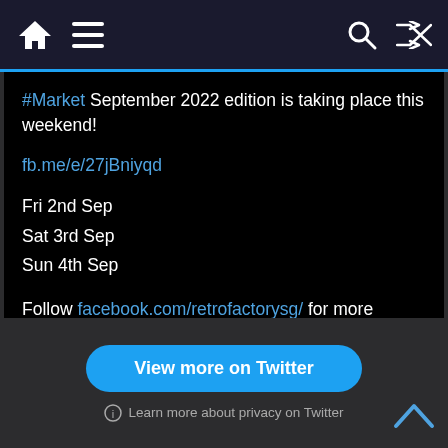Home | Menu | Search | Shuffle icons
#Market September 2022 edition is taking place this weekend!

fb.me/e/27jBniyqd

Fri 2nd Sep
Sat 3rd Sep
Sun 4th Sep

Follow facebook.com/retrofactorysg/ for more information and updates!

#history #heritage #retro #Singapore
[Figure (screenshot): Tweet action icons: comment (heart outline) and like with count 1]
View more on Twitter
Learn more about privacy on Twitter